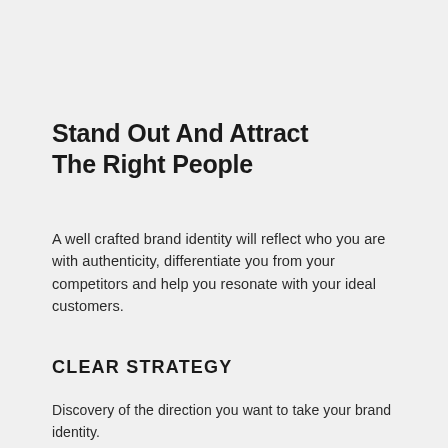Stand Out And Attract The Right People
A well crafted brand identity will reflect who you are with authenticity, differentiate you from your competitors and help you resonate with your ideal customers.
CLEAR STRATEGY
Discovery of the direction you want to take your brand identity.